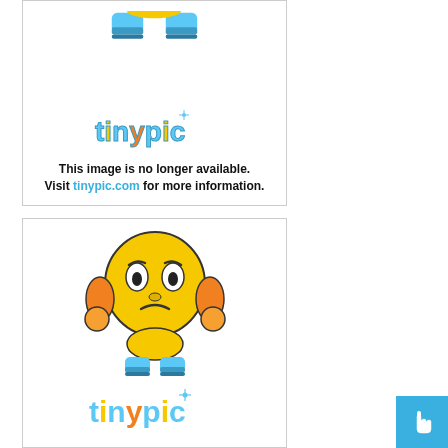[Figure (illustration): Tinypic 'image no longer available' placeholder card (top, partial) showing the bottom portion of a sad face emoji character with blue boots, the tinypic logo, and text: 'This image is no longer available. Visit tinypic.com for more information.']
[Figure (illustration): Tinypic 'image no longer available' placeholder card (bottom, full) showing a yellow sad-face emoji character with orange ear-hands and blue boots, the tinypic logo, partially cut off at the bottom.]